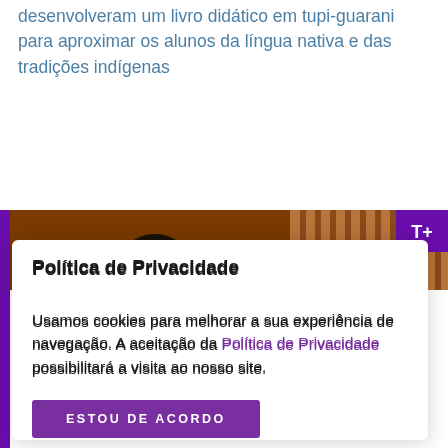Quatro professores da Escola Indígena Tupinambá desenvolveram um livro didático em tupi-guarani para aproximar os alunos da língua nativa e das tradições indígenas
[Figure (photo): Partial view of a person with dark hair in front of wooden fence/wall background, with purple banner. A 'T+' badge appears in the top right corner.]
Política de Privacidade
Usamos cookies para melhorar a sua experiência de navegação. A aceitação da Política de Privacidade possibilitará a visita ao nosso site.